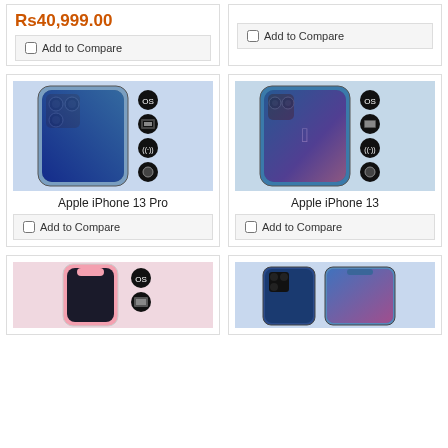Rs40,999.00
Add to Compare
Add to Compare
[Figure (photo): Apple iPhone 13 Pro in blue/sierra blue color with spec icons overlay]
Apple iPhone 13 Pro
Add to Compare
[Figure (photo): Apple iPhone 13 in blue color with spec icons overlay]
Apple iPhone 13
Add to Compare
[Figure (photo): Apple iPhone 13 mini in pink color with spec icons overlay]
[Figure (photo): Another smartphone model in blue color]